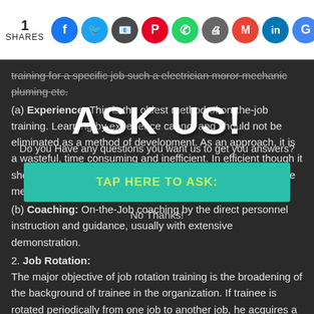1 SHARES — social share icons: Facebook, Twitter, Google Hangouts, Pinterest, WhatsApp, Print, Gmail, LinkedIn, Google
training for a specific job such a electrician moror mechanic pluming etc.
(a) Experience: This is the oldest method of on-the-job training. Learning by experience cannot and should not be eliminated as a method of development. As an approach, it is a wasteful, time consuming and inefficient. In efficient though it should be followed by other training methods to make it more meaningful.
(b) Coaching: On-the-Job coaching by the direct personnel instruction and guidance, usually with extensive demonstration.
2. Job Rotation: The major objective of job rotation training is the broadening of the background of trainee in the organization. If trainee is rotated periodically from one job to another job, he acquires a general background. The main advantages are: it provides a general or a round training...
[Figure (infographic): ASK US! overlay popup with text 'Do you Have any questions you want us to get you answers?' and a teal button 'TAP HERE TO ASK:' and 'No Thanks!' link]